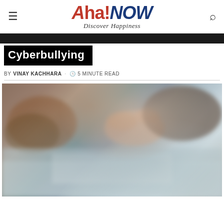[Figure (logo): Aha!NOW Discover Happiness logo with hamburger menu icon on left and search icon on right]
Cyberbullying
BY VINAY KACHHARA · 5 MINUTE READ
[Figure (photo): Blurred close-up photograph of hands appearing to be engaged in some activity on a surface with text/paper visible]